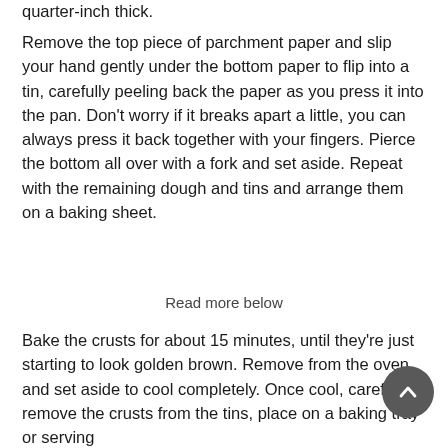quarter-inch thick.
Remove the top piece of parchment paper and slip your hand gently under the bottom paper to flip into a tin, carefully peeling back the paper as you press it into the pan. Don't worry if it breaks apart a little, you can always press it back together with your fingers. Pierce the bottom all over with a fork and set aside. Repeat with the remaining dough and tins and arrange them on a baking sheet.
Read more below
Bake the crusts for about 15 minutes, until they're just starting to look golden brown. Remove from the oven and set aside to cool completely. Once cool, carefully remove the crusts from the tins, place on a baking tray or serving